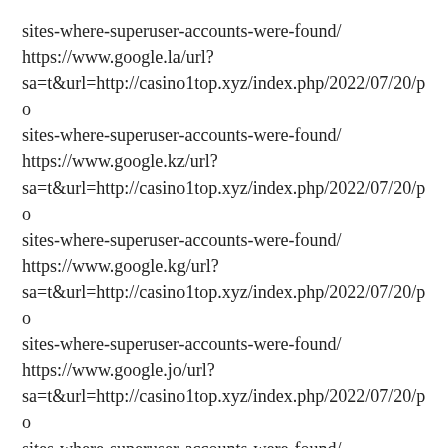sites-where-superuser-accounts-were-found/ https://www.google.la/url? sa=t&url=http://casino1top.xyz/index.php/2022/07/20/po sites-where-superuser-accounts-were-found/ https://www.google.kz/url? sa=t&url=http://casino1top.xyz/index.php/2022/07/20/po sites-where-superuser-accounts-were-found/ https://www.google.kg/url? sa=t&url=http://casino1top.xyz/index.php/2022/07/20/po sites-where-superuser-accounts-were-found/ https://www.google.jo/url? sa=t&url=http://casino1top.xyz/index.php/2022/07/20/po sites-where-superuser-accounts-were-found/ https://www.google.je/url? sa=t&url=http://casino1top.xyz/index.php/2022/07/20/po sites-where-superuser-accounts-were-found/ https://www.google.it/url?